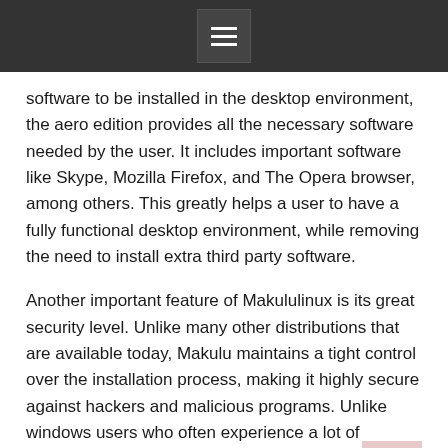[menu icon]
software to be installed in the desktop environment, the aero edition provides all the necessary software needed by the user. It includes important software like Skype, Mozilla Firefox, and The Opera browser, among others. This greatly helps a user to have a fully functional desktop environment, while removing the need to install extra third party software.
Another important feature of Makululinux is its great security level. Unlike many other distributions that are available today, Makulu maintains a tight control over the installation process, making it highly secure against hackers and malicious programs. Unlike windows users who often experience a lot of security vulnerabilities, a powerful distribution such as Makululinux will always remain free from threats.
Finally, another unique aspect of Makululinux is its user-friendly desktop. Although its advanced features are very